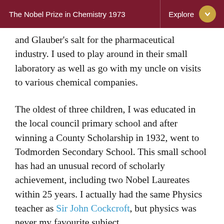The Nobel Prize in Chemistry 1973 | Explore
and Glauber's salt for the pharmaceutical industry. I used to play around in their small laboratory as well as go with my uncle on visits to various chemical companies.
The oldest of three children, I was educated in the local council primary school and after winning a County Scholarship in 1932, went to Todmorden Secondary School. This small school has had an unusual record of scholarly achievement, including two Nobel Laureates within 25 years. I actually had the same Physics teacher as Sir John Cockcroft, but physics was never my favourite subject.
In 1939 I obtained a Royal Scholarship for study at the Imperial College of Science and Technology